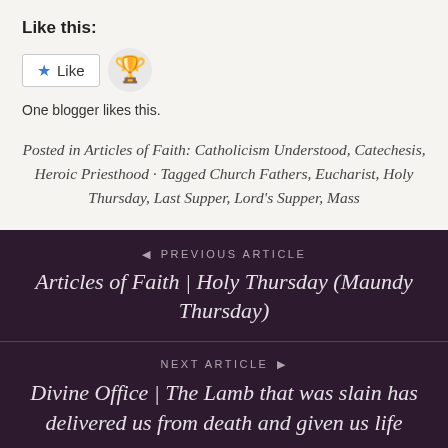Like this:
[Figure (other): Like button with star icon and trophy avatar emoji, with text 'One blogger likes this.']
Posted in Articles of Faith: Catholicism Understood, Catechesis, Heroic Priesthood · Tagged Church Fathers, Eucharist, Holy Thursday, Last Supper, Lord's Supper, Mass
◄ PREVIOUS ARTICLE
Articles of Faith | Holy Thursday (Maundy Thursday)
NEXT ARTICLE ►
Divine Office | The Lamb that was slain has delivered us from death and given us life